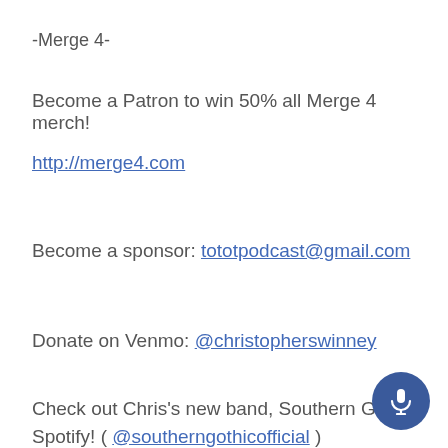-Merge 4-
Become a Patron to win 50% all Merge 4 merch!
http://merge4.com
Become a sponsor: tototpodcast@gmail.com
Donate on Venmo: @christopherswinney
Check out Chris's new band, Southern Goth on Spotify! ( @southerngothicofficial )